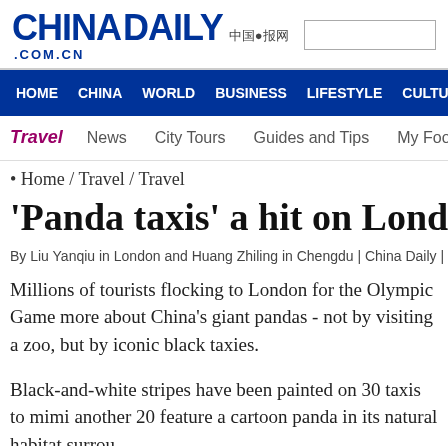[Figure (logo): China Daily logo with Chinese characters and .com.cn domain]
HOME  CHINA  WORLD  BUSINESS  LIFESTYLE  CULTURE  TRAVEL
Travel   News   City Tours   Guides and Tips   My Foot
Home / Travel / Travel
'Panda taxis' a hit on London st
By Liu Yanqiu in London and Huang Zhiling in Chengdu | China Daily | Updated: 201
Millions of tourists flocking to London for the Olympic Game more about China's giant pandas - not by visiting a zoo, but by iconic black taxies.
Black-and-white stripes have been painted on 30 taxis to mimi another 20 feature a cartoon panda in its natural habitat surrou